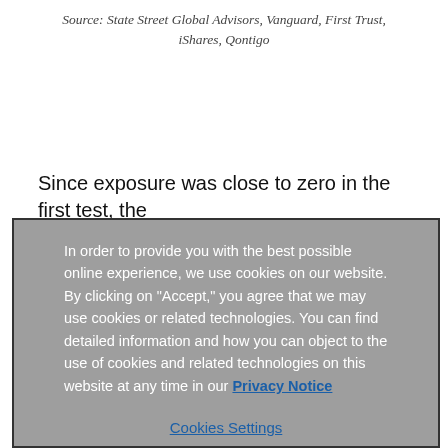Source: State Street Global Advisors, Vanguard, First Trust, iShares, Qontigo
Since exposure was close to zero in the first test, the
In order to provide you with the best possible online experience, we use cookies on our website. By clicking on "Accept," you agree that we may use cookies or related technologies. You can find detailed information and how you can object to the use of cookies and related technologies on this website at any time in our Privacy Notice
Cookies Settings
Necessary Cookies
Accept All Cookies